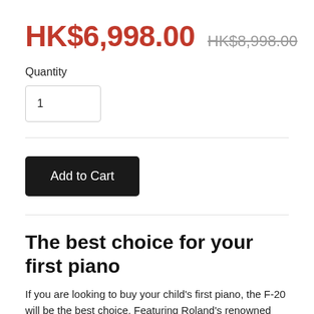HK$6,998.00  HK$8,998.00
Quantity
1
Add to Cart
The best choice for your first piano
If you are looking to buy your child's first piano, the F-20 will be the best choice. Featuring Roland's renowned piano technology, at an affordable price, this really is a serious instrument delivering the